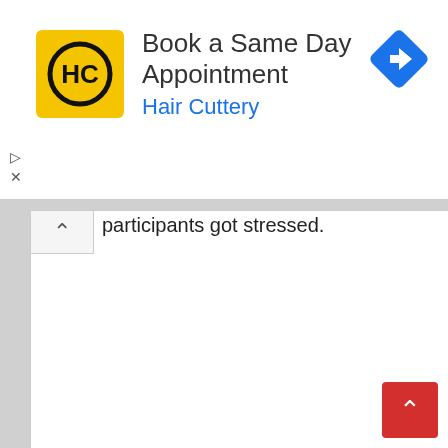[Figure (screenshot): Hair Cuttery advertisement banner: yellow square logo with HC monogram, title 'Book a Same Day Appointment', subtitle 'Hair Cuttery' in blue, blue diamond navigation icon top right, play and close icons bottom left]
participants got stressed.